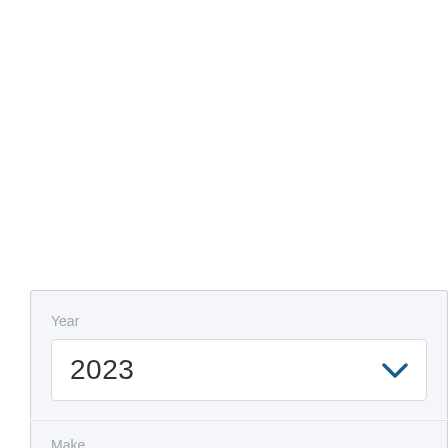[Figure (screenshot): A UI form widget showing a dropdown selector with label 'Year' and selected value '2023' with a blue chevron arrow, and below it a partially visible field labeled 'Make'.]